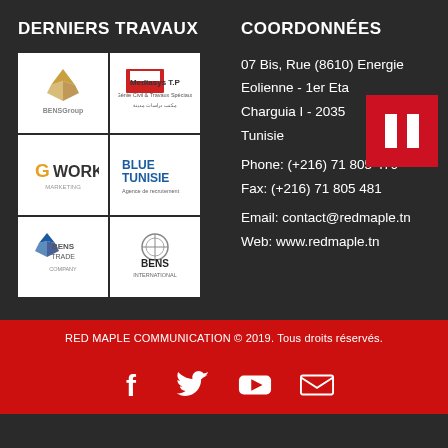DERNIERS TRAVAUX
[Figure (logo): Grid of 6 client logos: BENS GROUP, Mediasys T.P, G WORKS, BLUE TUNISIE, BENS TRADE, BENS INTERNATIONAL]
COORDONNÉES
07 Bis, Rue (8610) Energie Eolienne - 1er Etage - Charguia I - 2035 Tunisie
Phone: (+216) 71 805 479
Fax: (+216) 71 805 481
Email: contact@redmaple.tn
Web: www.redmaple.tn
RED MAPLE COMMUNICATION © 2019. Tous droits réservés.
[Figure (illustration): Social media icons: Facebook, Twitter, YouTube, Email]